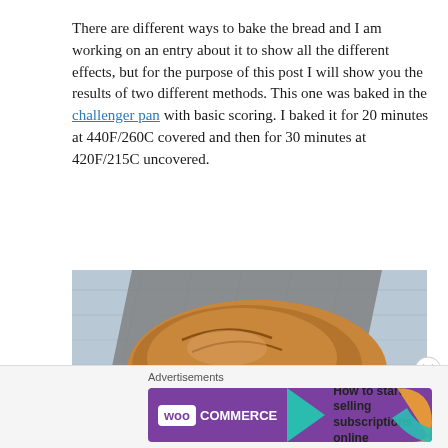There are different ways to bake the bread and I am working on an entry about it to show all the different effects, but for the purpose of this post I will show you the results of two different methods. This one was baked in the challenger pan with basic scoring. I baked it for 20 minutes at 440F/260C covered and then for 30 minutes at 420F/215C uncovered.
[Figure (photo): A rustic sourdough bread loaf resting on a grey linen cloth, on a light blue wooden surface. The bread has a scored crust and shows a dark caramelized bottom.]
Advertisements
[Figure (other): WooCommerce advertisement banner: purple background with WooCommerce logo on the left and text 'How to start selling subscriptions online' on the right with orange and teal decorative shapes.]